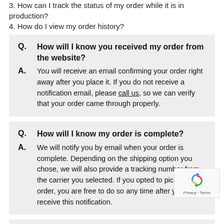3. How can I track the status of my order while it is in production?
4. How do I view my order history?
Q. How will I know you received my order from the website?
A. You will receive an email confirming your order right away after you place it. If you do not receive a notification email, please call us, so we can verify that your order came through properly.
Q. How will I know my order is complete?
A. We will notify you by email when your order is complete. Depending on the shipping option you chose, we will also provide a tracking number from the carrier you selected. If you opted to pick up your order, you are free to do so any time after you receive this notification.
Q. How can I track the status of my order while it is in